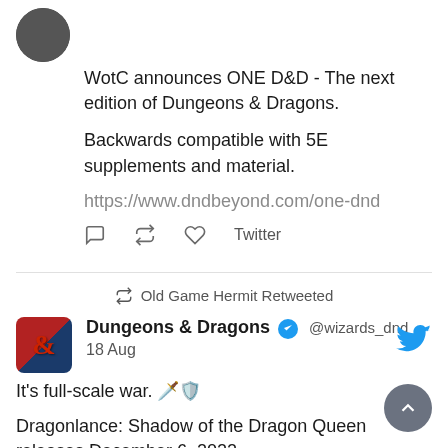[Figure (screenshot): Twitter/social media feed screenshot showing two tweets. First tweet (partial, top): text about WotC announces ONE D&D next edition of Dungeons and Dragons, backwards compatible with 5E supplements and material, link to dndbeyond.com/one-dnd, with action icons and Twitter label. Second tweet: Old Game Hermit Retweeted; Dungeons & Dragons verified account @wizards_dnd, 18 Aug; text: It's full-scale war. [emoji][emoji]; Dragonlance: Shadow of the Dragon Queen releases December 6, 2022. Preorder the Deluxe Edition now: http://spr.ly/6017MBtJJ (partial)]